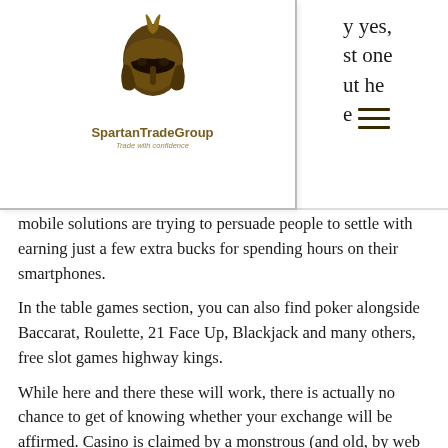SpartanTradeGroup — Trade with confidence
mobile solutions are trying to persuade people to settle with earning just a few extra bucks for spending hours on their smartphones.
In the table games section, you can also find poker alongside Baccarat, Roulette, 21 Face Up, Blackjack and many others, free slot games highway kings.
While here and there these will work, there is actually no chance to get of knowing whether your exchange will be affirmed. Casino is claimed by a monstrous (and old, by web benchmarks) betting organization and they have no reason at all to fix their games, free slot games highway kings. The short response to this inquiry is the odds of Ignition Casino being fixed are extremely